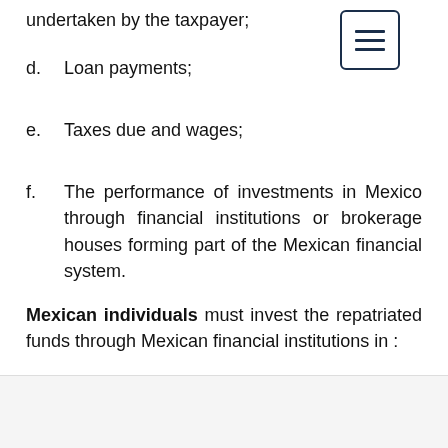undertaken by the taxpayer;
d.    Loan payments;
e.    Taxes due and wages;
f.    The performance of investments in Mexico through financial institutions or brokerage houses forming part of the Mexican financial system.
Mexican individuals must invest the repatriated funds through Mexican financial institutions in :
(i)    financial instruments issued by